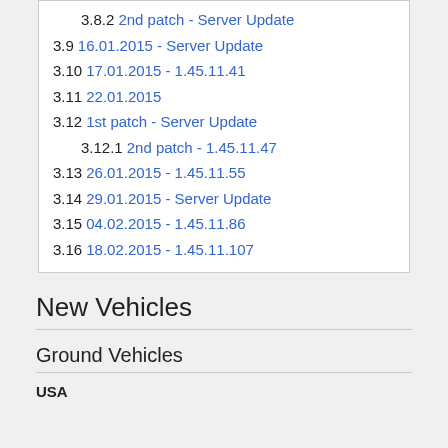3.8.2  2nd patch - Server Update
3.9  16.01.2015 - Server Update
3.10  17.01.2015 - 1.45.11.41
3.11  22.01.2015
3.12  1st patch - Server Update
3.12.1  2nd patch - 1.45.11.47
3.13  26.01.2015 - 1.45.11.55
3.14  29.01.2015 - Server Update
3.15  04.02.2015 - 1.45.11.86
3.16  18.02.2015 - 1.45.11.107
New Vehicles
Ground Vehicles
USA